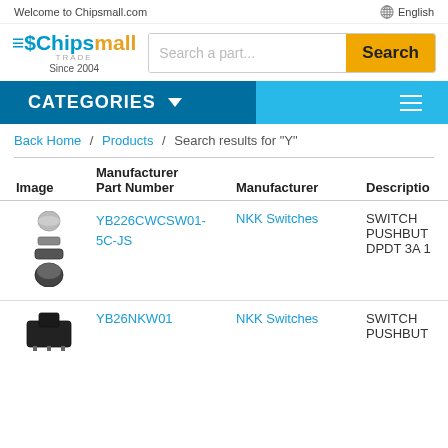Welcome to Chipsmall.com   English
[Figure (logo): Chipsmall logo with 'Since 2004' text and search bar]
CATEGORIES
Back Home / Products / Search results for "Y"
| Image | Manufacturer
Part Number | Manufacturer | Description |
| --- | --- | --- | --- |
| [image] | YB226CWCSW01-5C-JS | NKK Switches | SWITCH PUSHBUT DPDT 3A 1 |
| [image] | YB26NKW01 | NKK Switches | SWITCH PUSHBUT |